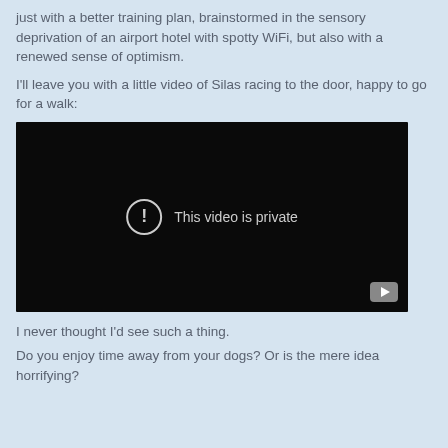just with a better training plan, brainstormed in the sensory deprivation of an airport hotel with spotty WiFi, but also with a renewed sense of optimism.
I'll leave you with a little video of Silas racing to the door, happy to go for a walk:
[Figure (screenshot): Embedded video player with black background showing 'This video is private' message with an exclamation mark icon and YouTube logo in bottom right corner.]
I never thought I'd see such a thing.
Do you enjoy time away from your dogs? Or is the mere idea horrifying?